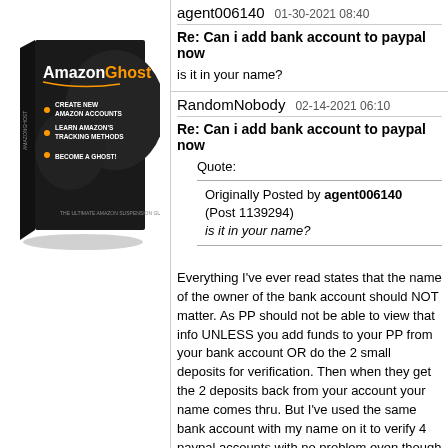[Figure (illustration): AmazonGhost book cover - black book with orange and white title text, bullet points: CREATE NEW AMAZON ACCOUNTS, LEARN AMAZON'S TRACKING METHODS, BECOME A GHOST!]
agent006140   01-30-2021 08:40
Re: Can i add bank account to paypal now
is it in your name?
RandomNobody   02-14-2021 06:10
Re: Can i add bank account to paypal now
Quote:
Originally Posted by agent006140
(Post 1139294)
is it in your name?
Everything I've ever read states that the name of the owner of the bank account should NOT matter. As PP should not be able to view that info UNLESS you add funds to your PP from your bank account OR do the 2 small deposits for verification. Then when they get the 2 deposits back from your account your name comes thru. But I've used the same bank account with my name on it to verify 4 paypal accounts with no problem even though the accounts state PP cannot do this